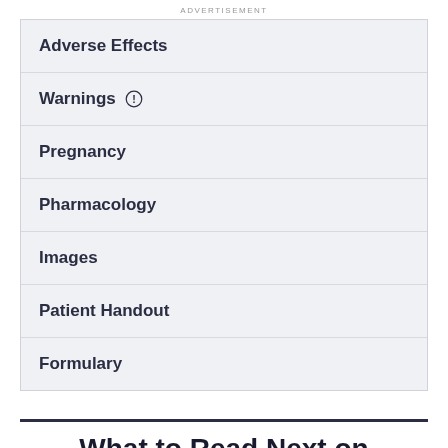ADVERTISEMENT
Adverse Effects
Warnings
Pregnancy
Pharmacology
Images
Patient Handout
Formulary
What to Read Next on